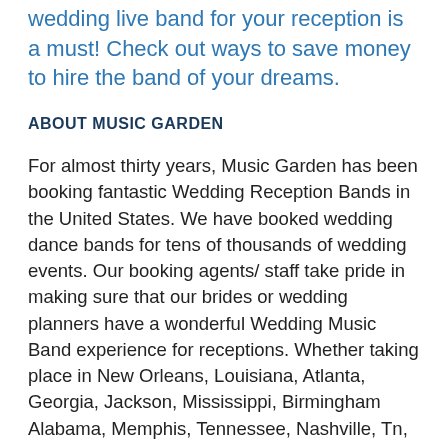wedding live band for your reception is a must! Check out ways to save money to hire the band of your dreams.
ABOUT MUSIC GARDEN
For almost thirty years, Music Garden has been booking fantastic Wedding Reception Bands in the United States. We have booked wedding dance bands for tens of thousands of wedding events. Our booking agents/ staff take pride in making sure that our brides or wedding planners have a wonderful Wedding Music Band experience for receptions. Whether taking place in New Orleans, Louisiana, Atlanta, Georgia, Jackson, Mississippi, Birmingham Alabama, Memphis, Tennessee, Nashville, Tn, Charleston, SC, Charlotte, NC, Washington DC, or any